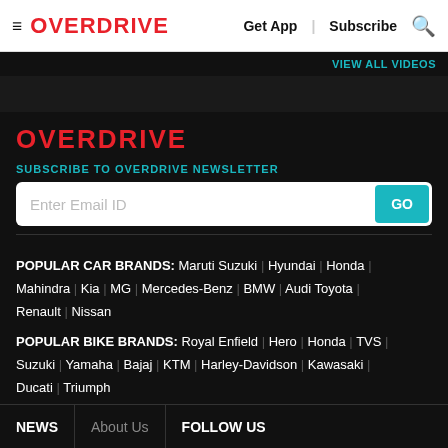OVERDRIVE | Get App | Subscribe
View All Videos
OVERDRIVE
SUBSCRIBE TO OVERDRIVE NEWSLETTER
Enter Email ID
POPULAR CAR BRANDS: Maruti Suzuki | Hyundai | Honda | Mahindra | Kia | MG | Mercedes-Benz | BMW | Audi Toyota | Renault | Nissan
POPULAR BIKE BRANDS: Royal Enfield | Hero | Honda | TVS | Suzuki | Yamaha | Bajaj | KTM | Harley-Davidson | Kawasaki | Ducati | Triumph
NEWS | About Us | FOLLOW US